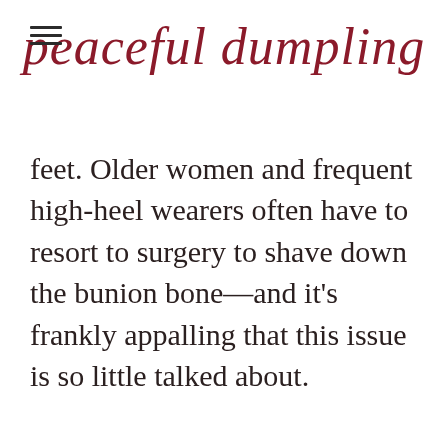peaceful dumpling
feet. Older women and frequent high-heel wearers often have to resort to surgery to shave down the bunion bone—and it’s frankly appalling that this issue is so little talked about.